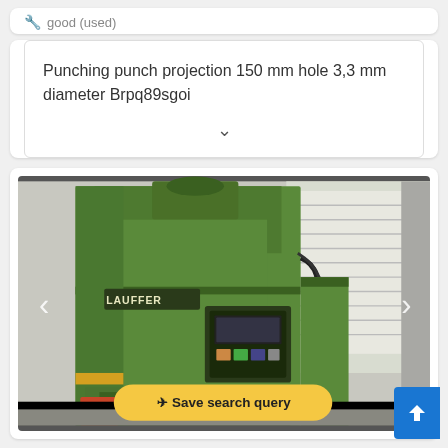🔧 good (used)
Punching punch projection 150 mm hole 3,3 mm diameter Brpq89sgoi
[Figure (photo): Green LAUFFER industrial punching machine in a factory setting with control panel, photographed from the front-right angle. Yellow 'Save search query' button overlay at bottom.]